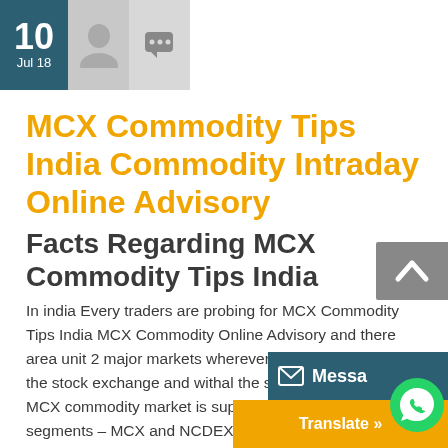10 Jul 18
MCX Commodity Tips India Commodity Intraday Online Advisory
Facts Regarding MCX Commodity Tips India
In india Every traders are probing for MCX Commodity Tips India MCX Commodity Online Advisory and there area unit 2 major markets wherever people will trade – the stock exchange and withal the stock market. The MCX commodity market is supplemental divided into 2 segments – MCX and NCDEX. If you woul a position more astronomically immen